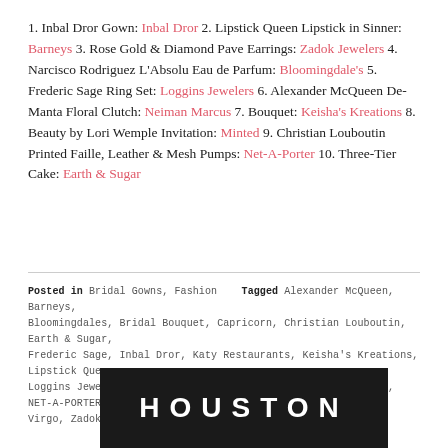1. Inbal Dror Gown: Inbal Dror 2. Lipstick Queen Lipstick in Sinner: Barneys 3. Rose Gold & Diamond Pave Earrings: Zadok Jewelers 4. Narcisco Rodriguez L'Absolu Eau de Parfum: Bloomingdale's 5. Frederic Sage Ring Set: Loggins Jewelers 6. Alexander McQueen De-Manta Floral Clutch: Neiman Marcus 7. Bouquet: Keisha's Kreations 8. Beauty by Lori Wemple Invitation: Minted 9. Christian Louboutin Printed Faille, Leather & Mesh Pumps: Net-A-Porter 10. Three-Tier Cake: Earth & Sugar
Posted in Bridal Gowns, Fashion   Tagged Alexander McQueen, Barneys, Bloomingdales, Bridal Bouquet, Capricorn, Christian Louboutin, Earth & Sugar, Frederic Sage, Inbal Dror, Katy Restaurants, Keisha's Kreations, Lipstick Queen, Loggins Jewelers, Minted, Narcisco Rodriguez, Neiman Marcus, NET-A-PORTER, Virgo, Zadok Jewelers, Zodiac Style   Leave a comment
[Figure (other): Dark banner with white text reading HOUSTON in large spaced capitals]